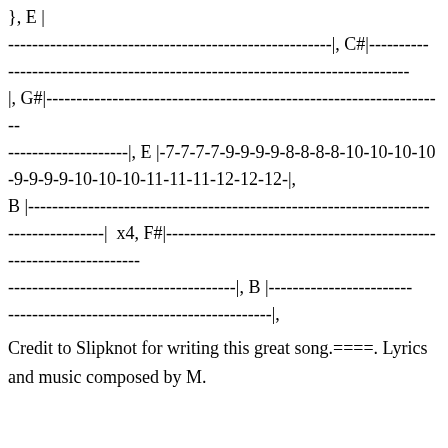}, E |
------------------------------------------------------|, C#|----------
-------------------------------------------------------------------
|, G#|-------------------------------------------------------------------
--------------------|, E |-7-7-7-7-9-9-9-9-8-8-8-8-10-10-10-10-9-9-9-9-10-10-10-11-11-11-12-12-12-|,
B |-------------------------------------------------------------------
----------------|  x4, F#|-------------------------------------------------------------------
--------------------------------------|, B |------------------------
--------------------------------------------|,
Credit to Slipknot for writing this great song.====. Lyrics and music composed by M.